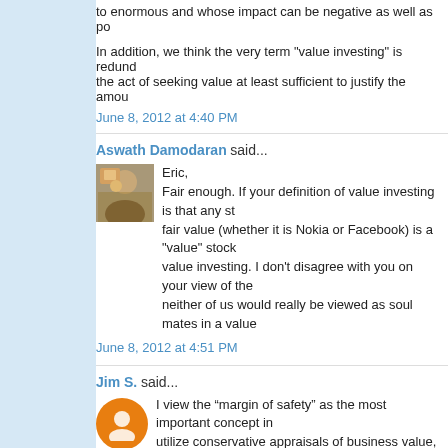to enormous and whose impact can be negative as well as po
In addition, we think the very term "value investing" is redund the act of seeking value at least sufficient to justify the amou
June 8, 2012 at 4:40 PM
Aswath Damodaran said...
Eric,
Fair enough. If your definition of value investing is that any st fair value (whether it is Nokia or Facebook) is a "value" stock value investing. I don't disagree with you on your view of the neither of us would really be viewed as soul mates in a value
June 8, 2012 at 4:51 PM
Jim S. said...
I view the “margin of safety” as the most important concept in utilize conservative appraisals of business value, attempting their estimates prove incorrect. I also suspect that this is the s seems possible for value investors to avoid some of the losse investors, while enjoying similar (or better) potential upside. B
June 8, 2012 at 10:22 PM